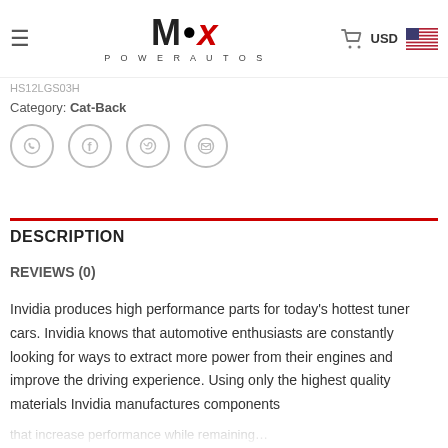MSX POWERAUTOS — USD
Category: Cat-Back
DESCRIPTION
REVIEWS (0)
Invidia produces high performance parts for today's hottest tuner cars. Invidia knows that automotive enthusiasts are constantly looking for ways to extract more power from their engines and improve the driving experience. Using only the highest quality materials Invidia manufactures components that increase performance while remaining…